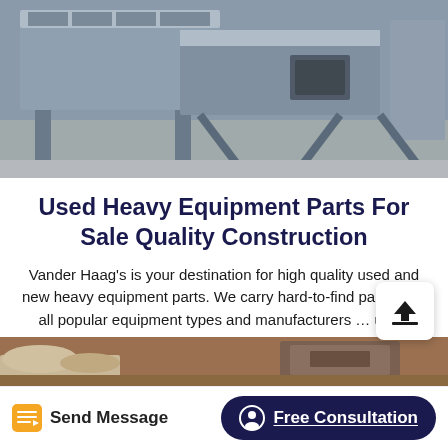[Figure (photo): Industrial heavy equipment / machinery in a warehouse or outdoor facility, grey metal screening or conveyor equipment]
Used Heavy Equipment Parts For Sale Quality Construction
Vander Haag's is your destination for high quality used and new heavy equipment parts. We carry hard-to-find parts from all popular equipment types and manufacturers … us …
[Figure (photo): Outdoor scene with heavy equipment machinery, dirt and rubble, construction site context]
Send Message
Free Consultation